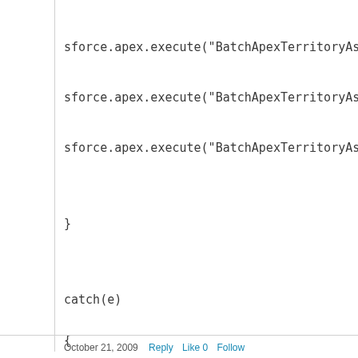sforce.apex.execute("BatchApexTerritoryAssignmen
sforce.apex.execute("BatchApexTerritoryAssignmen
sforce.apex.execute("BatchApexTerritoryAssignmen
}
catch(e)
{
alert(e);
}
October 21, 2009  Reply  Like 0  Follow